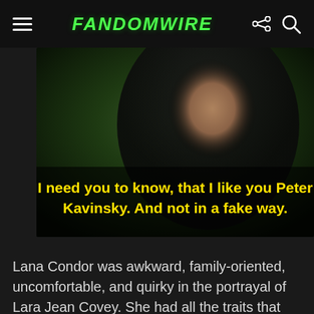FandomWire
[Figure (screenshot): Movie still from 'To All The Boys I've Loved Before' showing actress Lana Condor with subtitle text: 'I need you to know, that I like you Peter Kavinsky. And not in a fake way.']
Lana Condor was awkward, family-oriented, uncomfortable, and quirky in the portrayal of Lara Jean Covey. She had all the traits that the book's character did and did not disappoint even a percent.